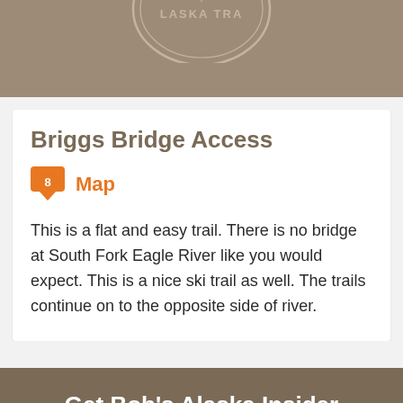[Figure (logo): Partial circular logo with text 'ALASKA TRAV...' visible at top of page on tan/brown background]
Briggs Bridge Access
[Figure (infographic): Orange speech bubble badge with number 8 followed by orange text 'Map']
This is a flat and easy trail. There is no bridge at South Fork Eagle River like you would expect. This is a nice ski trail as well. The trails continue on to the opposite side of river.
Get Bob's Alaska Insider Newsletter